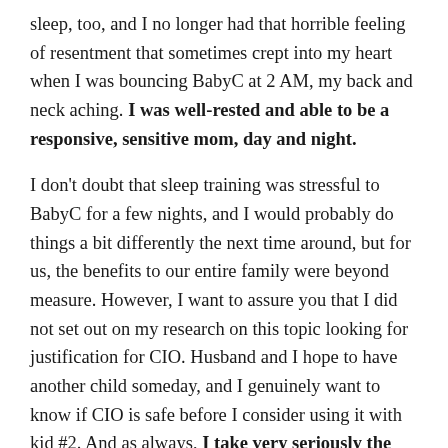sleep, too, and I no longer had that horrible feeling of resentment that sometimes crept into my heart when I was bouncing BabyC at 2 AM, my back and neck aching. I was well-rested and able to be a responsive, sensitive mom, day and night.

I don't doubt that sleep training was stressful to BabyC for a few nights, and I would probably do things a bit differently the next time around, but for us, the benefits to our entire family were beyond measure. However, I want to assure you that I did not set out on my research on this topic looking for justification for CIO. Husband and I hope to have another child someday, and I genuinely want to know if CIO is safe before I consider using it with kid #2. And as always, I take very seriously the responsibility of explaining science honestly on this blog. I did not pick and choose research to support one side or the other – I